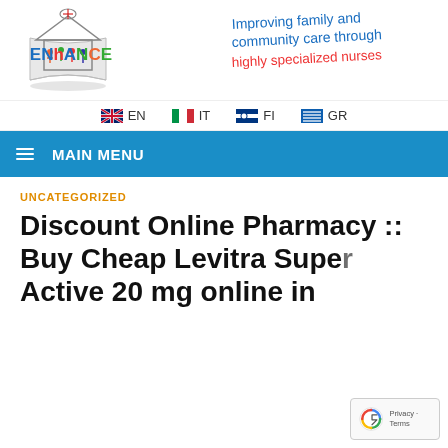[Figure (logo): ENHANCE project logo with nurse icon and colored figures, text reading ENhANCE]
[Figure (illustration): Handwritten-style tagline: Improving family and community care through highly specialized nurses]
🇬🇧 EN   🇮🇹 IT   🇫🇮 FI   🇬🇷 GR
≡ MAIN MENU
UNCATEGORIZED
Discount Online Pharmacy :: Buy Cheap Levitra Super Active 20 mg online in